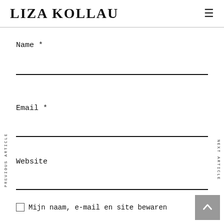LIZA KOLLAU
Name *
Email *
Website
PREVIOUS ARTICLE
NEXT ARTICLE
Mijn naam, e-mail en site bewaren